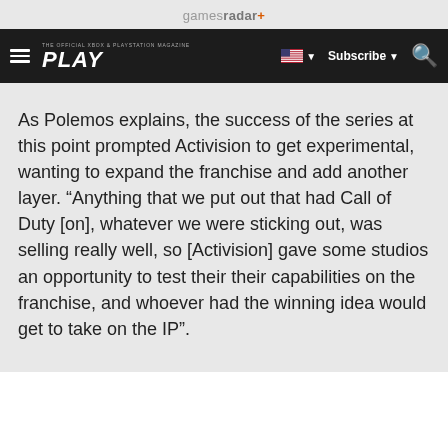gamesradar+
PLAY | Subscribe | Search
As Polemos explains, the success of the series at this point prompted Activision to get experimental, wanting to expand the franchise and add another layer. “Anything that we put out that had Call of Duty [on], whatever we were sticking out, was selling really well, so [Activision] gave some studios an opportunity to test their their capabilities on the franchise, and whoever had the winning idea would get to take on the IP”.